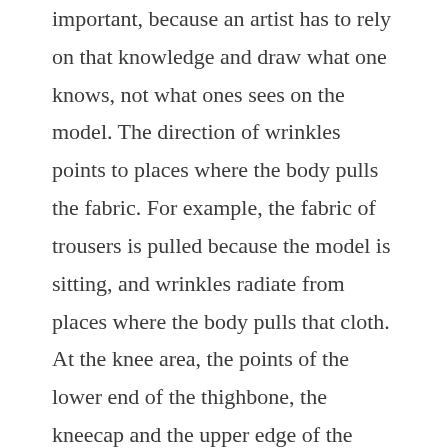important, because an artist has to rely on that knowledge and draw what one knows, not what ones sees on the model. The direction of wrinkles points to places where the body pulls the fabric. For example, the fabric of trousers is pulled because the model is sitting, and wrinkles radiate from places where the body pulls that cloth. At the knee area, the points of the lower end of the thighbone, the kneecap and the upper edge of the shinbone are in tight contact with the fabric and are easily detectable. From two points at the top of the shinbone, the fabric begins to go slack, and two wrinkles appear on the left and right sides of the knee. Actually, these areas of excess fabric are one